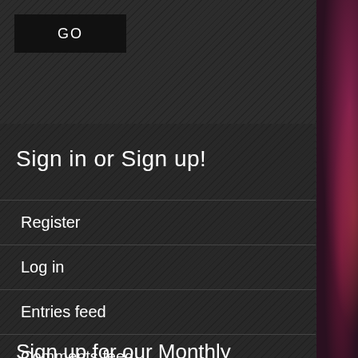GO
Sign in or Sign up!
Register
Log in
Entries feed
Comments feed
WordPress.org
Sign up for our Monthly